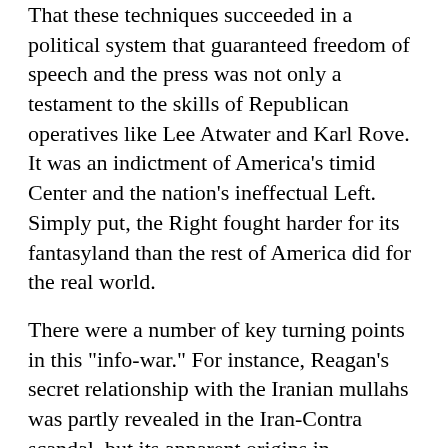That these techniques succeeded in a political system that guaranteed freedom of speech and the press was not only a testament to the skills of Republican operatives like Lee Atwater and Karl Rove. It was an indictment of America's timid Center and the nation's ineffectual Left. Simply put, the Right fought harder for its fantasyland than the rest of America did for the real world.
There were a number of key turning points in this "info-war." For instance, Reagan's secret relationship with the Iranian mullahs was partly revealed in the Iran-Contra scandal, but its apparent origins in treacherous Republican activities during Campaign 1980 -- contacting Iran behind President Jimmy Carter's back -- were swept under the rug by mainstream Democrats and the Washington press corps.
Similarly, evidence of Contra drug-trafficking -- and even CIA admissions about covering up and protecting those